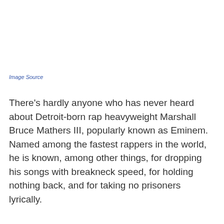Image Source
There's hardly anyone who has never heard about Detroit-born rap heavyweight Marshall Bruce Mathers III, popularly known as Eminem. Named among the fastest rappers in the world, he is known, among other things, for dropping his songs with breakneck speed, for holding nothing back, and for taking no prisoners lyrically.